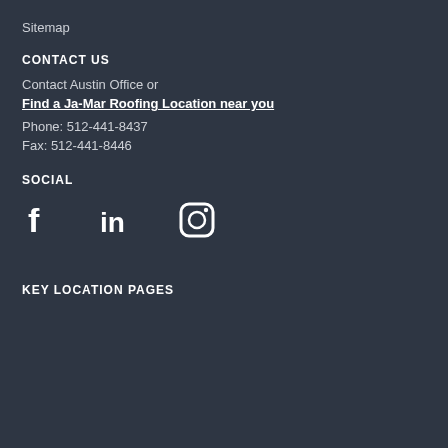Sitemap
CONTACT US
Contact Austin Office or
Find a Ja-Mar Roofing Location near you
Phone: 512-441-8437
Fax: 512-441-8446
SOCIAL
[Figure (infographic): Social media icons: Facebook (f), LinkedIn (in), Instagram (camera icon)]
KEY LOCATION PAGES